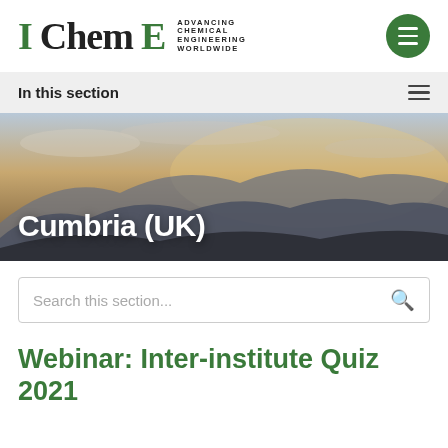[Figure (logo): IChemE logo — Advancing Chemical Engineering Worldwide]
In this section
[Figure (photo): Landscape hero image of misty mountains and clouds at dusk with text overlay 'Cumbria (UK)']
Cumbria (UK)
Search this section...
Webinar: Inter-institute Quiz 2021